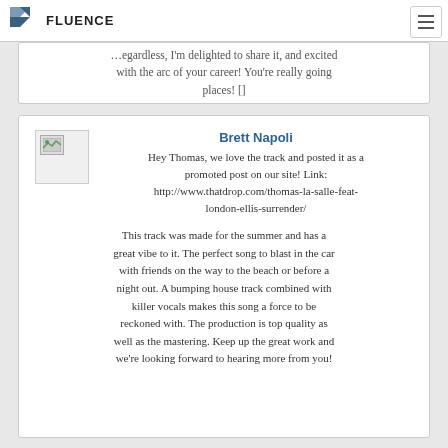FLUENCE
...egardless, I'm delighted to share it, and excited with the arc of your career! You're really going places! []
Brett Napoli
Hey Thomas, we love the track and posted it as a promoted post on our site! Link: http://www.thatdrop.com/thomas-la-salle-feat-london-ellis-surrender/

This track was made for the summer and has a great vibe to it. The perfect song to blast in the car with friends on the way to the beach or before a night out. A bumping house track combined with killer vocals makes this song a force to be reckoned with. The production is top quality as well as the mastering. Keep up the great work and we're looking forward to hearing more from you!